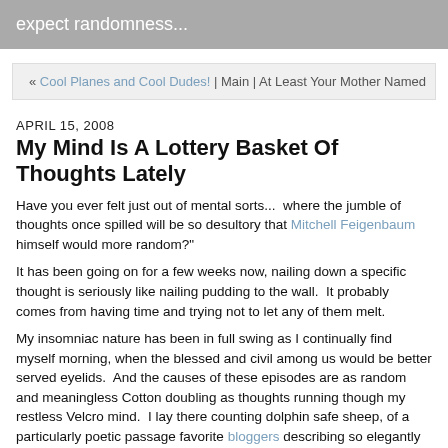expect randomness...
« Cool Planes and Cool Dudes! | Main | At Least Your Mother Named
APRIL 15, 2008
My Mind Is A Lottery Basket Of Thoughts Lately
Have you ever felt just out of mental sorts...  where the jumble of thoughts once spilled will be so desultory that Mitchell Feigenbaum himself would more random?"
It has been going on for a few weeks now, nailing down a specific thought is seriously like nailing pudding to the wall.  It probably comes from having time and trying not to let any of them melt.
My insomniac nature has been in full swing as I continually find myself morning, when the blessed and civil among us would be better served eyelids.  And the causes of these episodes are as random and meaningless Cotton doubling as thoughts running though my restless Velcro mind. I lay there counting dolphin safe sheep, of a particularly poetic passage favorite bloggers describing so elegantly my inconvenient experiences